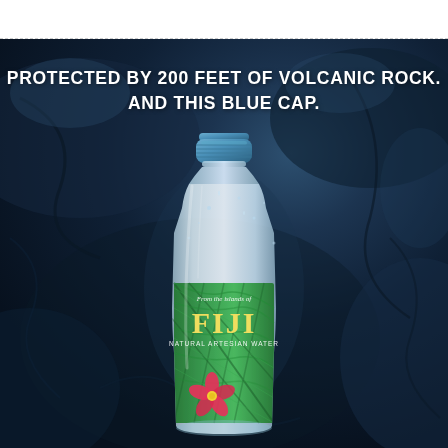[Figure (photo): FIJI Water bottle with blue cap sitting against a dark blue volcanic rock background. The bottle has the FIJI Natural Artesian Water label with tropical palm leaf and hibiscus flower design. Text overlay reads: PROTECTED BY 200 FEET OF VOLCANIC ROCK. AND THIS BLUE CAP.]